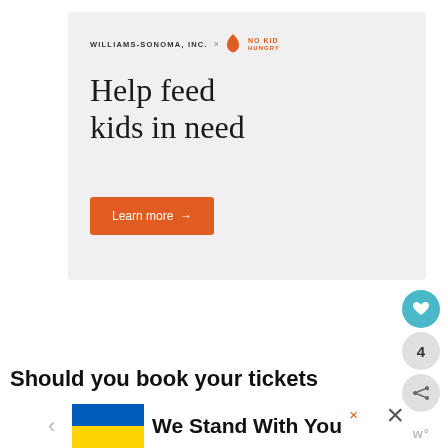[Figure (infographic): Williams-Sonoma Inc. x No Kid Hungry advertisement banner with headline 'Help feed kids in need' and an orange 'Learn more' button]
Should you book your tickets
[Figure (infographic): Ukraine flag banner with text 'We Stand With You']
[Figure (infographic): UI overlay elements: teal heart button, count badge showing 4, share button, close buttons, and W logo]